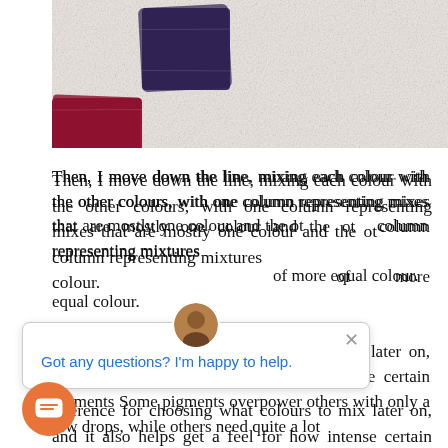[Figure (photo): Close-up photo of watercolour paint swatches on textured white paper — a dark purple/violet square swatch and a deep red/crimson swatch, partially visible at left edge.]
Then, I move down the line, mixing each colour with the other colours, with one column representing mixes that are mostly one colour and the other column representing mixtures of more equal colour.
...erence for choosing what colours to mix later on, and it also helps get a feel for how intense certain pigments Some pigments overpower others with only a few drops, while others need quite a lot